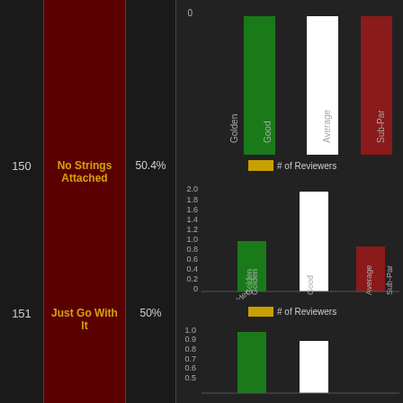[Figure (bar-chart): Top partial bar chart, partial view with rotated x-axis labels]
| # | Title | % | Chart |
| --- | --- | --- | --- |
| 150 | No Strings Attached | 50.4% | bar chart |
| 151 | Just Go With It | 50% | bar chart |
[Figure (bar-chart): # of Reviewers]
[Figure (bar-chart): # of Reviewers]